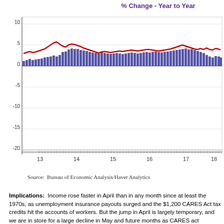% Change - Year to Year
[Figure (bar-chart): % Change - Year to Year]
Source:  Bureau of Economic Analysis/Haver Analytics
Implications:  Income rose faster in April than in any month since at least the 1970s, as unemployment insurance payouts surged and the $1,200 CARES Act tax credits hit the accounts of workers. But the jump in April is largely temporary, and we are in store for a large decline in May and future months as CARES act payments roll off.  Outside of government transfer payments